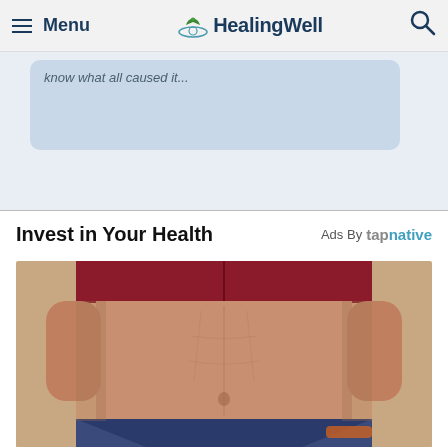≡ Menu   HealingWell   🔍
know what all caused it...
Invest in Your Health
Ads By tapnative
[Figure (photo): Close-up torso of a fit woman wearing a red sports bra and blue shorts, showing toned midsection]